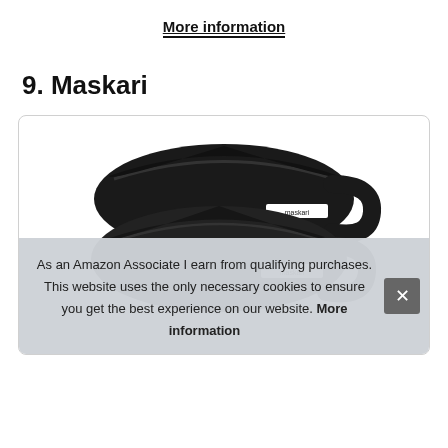More information
9. Maskari
[Figure (photo): Two black Maskari face masks stacked on each other, showing the brand label 'maskari' on each mask, against a white background inside a rounded card.]
As an Amazon Associate I earn from qualifying purchases. This website uses the only necessary cookies to ensure you get the best experience on our website. More information